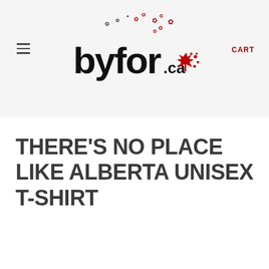byfor.ca
THERE'S NO PLACE LIKE ALBERTA UNISEX T-SHIRT